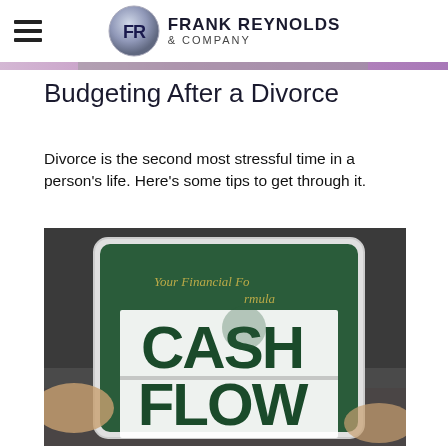Frank Reynolds & Company
Budgeting After a Divorce
Divorce is the second most stressful time in a person's life. Here's some tips to get through it.
[Figure (photo): A tablet displaying a 'Cash Flow' financial document with 'Your Financial Formula' text, held by hands, shown against a dark background.]